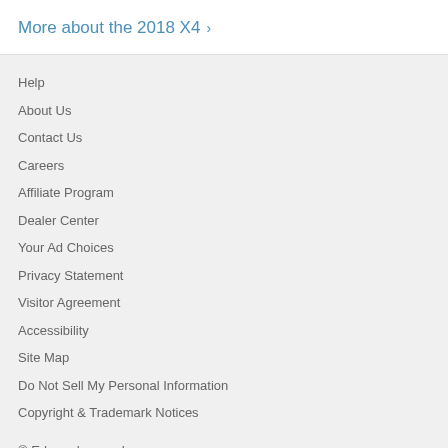More about the 2018 X4 ›
Help
About Us
Contact Us
Careers
Affiliate Program
Dealer Center
Your Ad Choices
Privacy Statement
Visitor Agreement
Accessibility
Site Map
Do Not Sell My Personal Information
Copyright & Trademark Notices
© Edmunds.com, Inc.